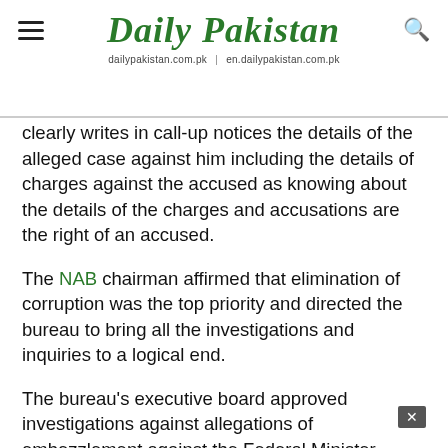Daily Pakistan — dailypakistan.com.pk | en.dailypakistan.com.pk
clearly writes in call-up notices the details of the alleged case against him including the details of charges against the accused as knowing about the details of the charges and accusations are the right of an accused.
The NAB chairman affirmed that elimination of corruption was the top priority and directed the bureau to bring all the investigations and inquiries to a logical end.
The bureau's executive board approved investigations against allegations of embezzlement against the Federal Minister